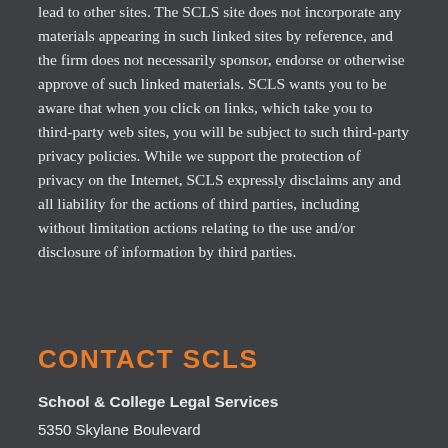lead to other sites. The SCLS site does not incorporate any materials appearing in such linked sites by reference, and the firm does not necessarily sponsor, endorse or otherwise approve of such linked materials. SCLS wants you to be aware that when you click on links, which take you to third-party web sites, you will be subject to such third-party privacy policies. While we support the protection of privacy on the Internet, SCLS expressly disclaims any and all liability for the actions of third parties, including without limitation actions relating to the use and/or disclosure of information by third parties.
CONTACT SCLS
School & College Legal Services
5350 Skylane Boulevard